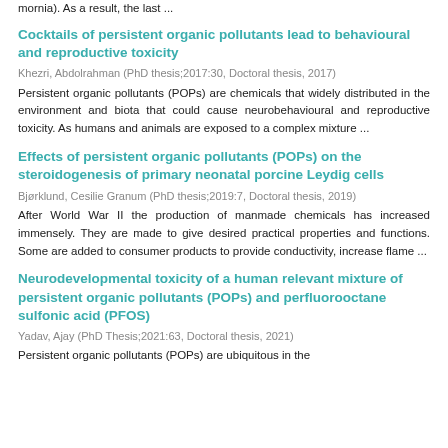mornia). As a result, the last ...
Cocktails of persistent organic pollutants lead to behavioural and reproductive toxicity
Khezri, Abdolrahman (PhD thesis;2017:30, Doctoral thesis, 2017)
Persistent organic pollutants (POPs) are chemicals that widely distributed in the environment and biota that could cause neurobehavioural and reproductive toxicity. As humans and animals are exposed to a complex mixture ...
Effects of persistent organic pollutants (POPs) on the steroidogenesis of primary neonatal porcine Leydig cells
Bjørklund, Cesilie Granum (PhD thesis;2019:7, Doctoral thesis, 2019)
After World War II the production of manmade chemicals has increased immensely. They are made to give desired practical properties and functions. Some are added to consumer products to provide conductivity, increase flame ...
Neurodevelopmental toxicity of a human relevant mixture of persistent organic pollutants (POPs) and perfluorooctane sulfonic acid (PFOS)
Yadav, Ajay (PhD Thesis;2021:63, Doctoral thesis, 2021)
Persistent organic pollutants (POPs) are ubiquitous in the